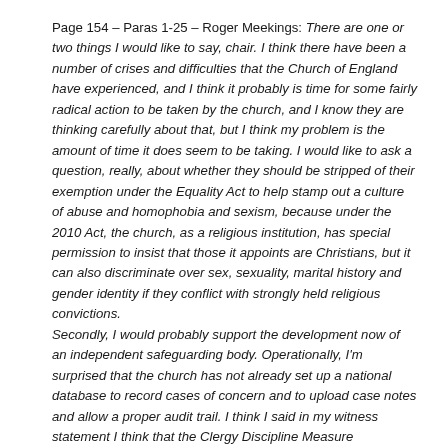Page 154 – Paras 1-25 – Roger Meekings: There are one or two things I would like to say, chair. I think there have been a number of crises and difficulties that the Church of England have experienced, and I think it probably is time for some fairly radical action to be taken by the church, and I know they are thinking carefully about that, but I think my problem is the amount of time it does seem to be taking. I would like to ask a question, really, about whether they should be stripped of their exemption under the Equality Act to help stamp out a culture of abuse and homophobia and sexism, because under the 2010 Act, the church, as a religious institution, has special permission to insist that those it appoints are Christians, but it can also discriminate over sex, sexuality, marital history and gender identity if they conflict with strongly held religious convictions. Secondly, I would probably support the development now of an independent safeguarding body. Operationally, I'm surprised that the church has not already set up a national database to record cases of concern and to upload case notes and allow a proper audit trail. I think I said in my witness statement I think that the Clergy Discipline Measure